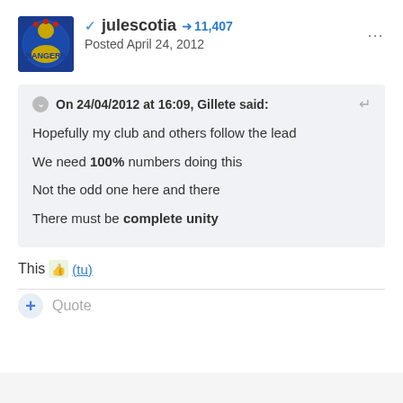julescotia  11,407  Posted April 24, 2012
On 24/04/2012 at 16:09, Gillete said:
Hopefully my club and others follow the lead
We need 100% numbers doing this
Not the odd one here and there
There must be complete unity
This (tu)
+ Quote